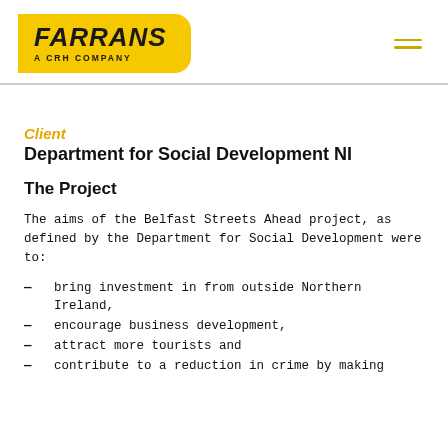[Figure (logo): Farrans A CRH Company logo on yellow background]
Client
Department for Social Development NI
The Project
The aims of the Belfast Streets Ahead project, as defined by the Department for Social Development were to:
bring investment in from outside Northern Ireland,
encourage business development,
attract more tourists and
contribute to a reduction in crime by making